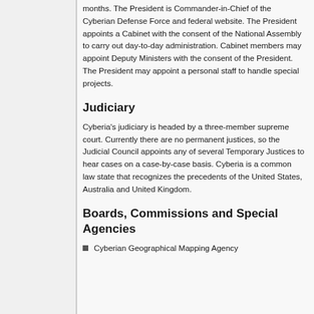months. The President is Commander-in-Chief of the Cyberian Defense Force and federal website. The President appoints a Cabinet with the consent of the National Assembly to carry out day-to-day administration. Cabinet members may appoint Deputy Ministers with the consent of the President. The President may appoint a personal staff to handle special projects.
Judiciary
Cyberia's judiciary is headed by a three-member supreme court. Currently there are no permanent justices, so the Judicial Council appoints any of several Temporary Justices to hear cases on a case-by-case basis. Cyberia is a common law state that recognizes the precedents of the United States, Australia and United Kingdom.
Boards, Commissions and Special Agencies
Cyberian Geographical Mapping Agency